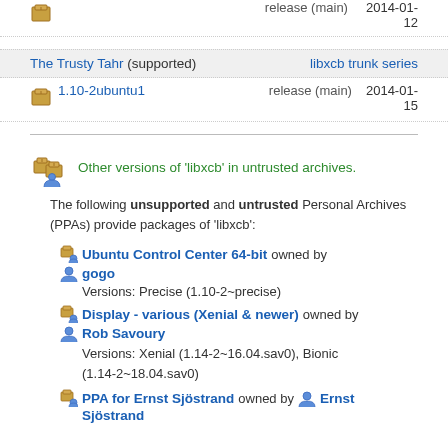|  | version | channel | date |
| --- | --- | --- | --- |
| [box] | 1.10-2ubuntu1 | release (main) | 2014-01-15 |
| section | series |
| --- | --- |
| The Trusty Tahr (supported) | libxcb trunk series |
|  | version | channel | date |
| --- | --- | --- | --- |
| [box] | 1.10-2ubuntu1 | release (main) | 2014-01-15 |
Other versions of 'libxcb' in untrusted archives.
The following unsupported and untrusted Personal Archives (PPAs) provide packages of 'libxcb':
Ubuntu Control Center 64-bit owned by gogo
Versions: Precise (1.10-2~precise)
Display - various (Xenial & newer) owned by Rob Savoury
Versions: Xenial (1.14-2~16.04.sav0), Bionic (1.14-2~18.04.sav0)
PPA for Ernst Sjöstrand owned by Ernst Sjöstrand